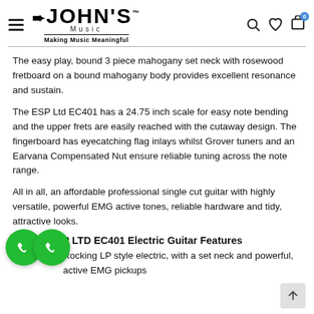JOHN'S Music — Making Music Meaningful
The easy play, bound 3 piece mahogany set neck with rosewood fretboard on a bound mahogany body provides excellent resonance and sustain.
The ESP Ltd EC401 has a 24.75 inch scale for easy note bending and the upper frets are easily reached with the cutaway design. The fingerboard has eyecatching flag inlays whilst Grover tuners and an Earvana Compensated Nut ensure reliable tuning across the note range.
All in all, an affordable professional single cut guitar with highly versatile, powerful EMG active tones, reliable hardware and tidy, attractive looks.
ESP LTD EC401 Electric Guitar Features
Rocking LP style electric, with a set neck and powerful, active EMG pickups